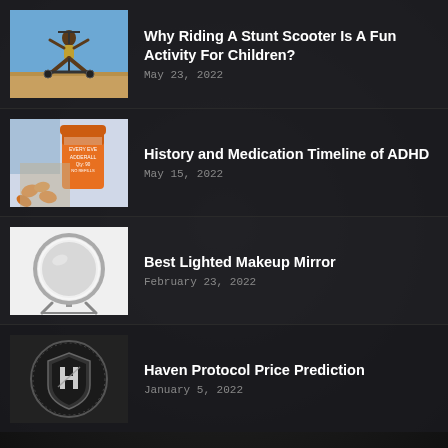[Figure (photo): Child jumping on a stunt scooter over a ramp on a track]
Why Riding A Stunt Scooter Is A Fun Activity For Children?
May 23, 2022
[Figure (photo): Adderall prescription bottle with orange pills scattered]
History and Medication Timeline of ADHD
May 15, 2022
[Figure (photo): Round lighted makeup mirror on a stand against white background]
Best Lighted Makeup Mirror
February 23, 2022
[Figure (photo): Dark coin with Haven Protocol logo shield emblem]
Haven Protocol Price Prediction
January 5, 2022